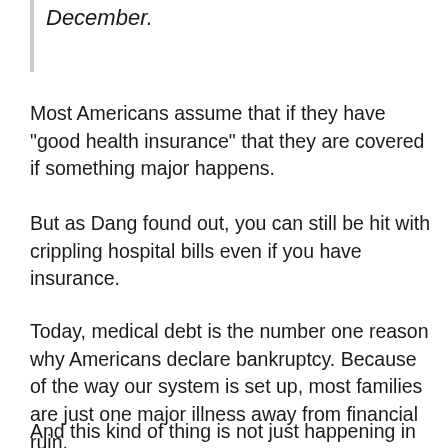December.
Most Americans assume that if they have “good health insurance” that they are covered if something major happens.
But as Dang found out, you can still be hit with crippling hospital bills even if you have insurance.
Today, medical debt is the number one reason why Americans declare bankruptcy.  Because of the way our system is set up, most families are just one major illness away from financial ruin.
And this kind of thing is not just happening in California.  The median charge for a visit to the